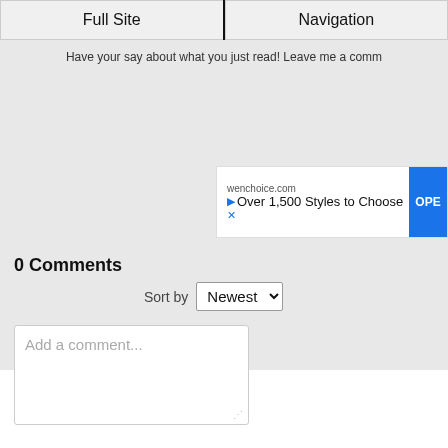Full Site | Navigation
Have your say about what you just read! Leave me a comm...
[Figure (screenshot): Advertisement banner for wenchoice.com showing 'Over 1,500 Styles to Choose' with an OPEN button]
0 Comments
Sort by Newest
Add a comment...